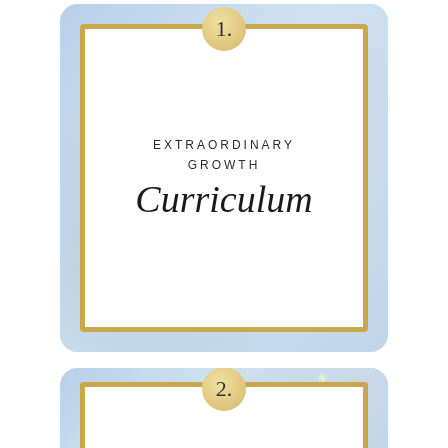[Figure (illustration): Card number 1 with light blue marble background with gold glitter, gold border frame, beige circle with number 1, text reading EXTRAORDINARY GROWTH in spaced capital letters and Curriculum in cursive script]
[Figure (illustration): Card number 2 with light blue marble background with gold glitter, gold border frame (top portion visible), beige circle with number 2, text reading EXTRAORDINARY partially visible]